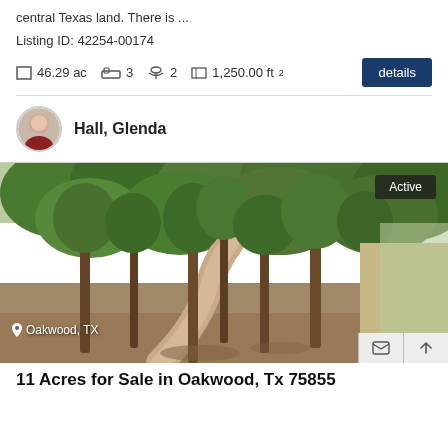central Texas land. There is ...
Listing ID: 42254-00174
46.29 ac   3   2   1,250.00 ft²   details
Hall, Glenda
[Figure (photo): Wooded land with trees and a dirt path, Oakwood TX. Active status badge in top right. Location tag 'Oakwood, TX' at bottom left.]
11 Acres for Sale in Oakwood, Tx 75855